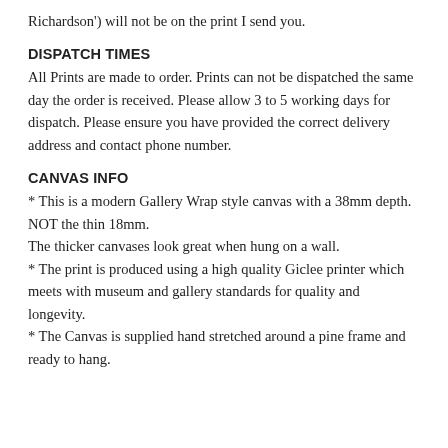Richardson') will not be on the print I send you.
DISPATCH TIMES
All Prints are made to order. Prints can not be dispatched the same day the order is received. Please allow 3 to 5 working days for dispatch. Please ensure you have provided the correct delivery address and contact phone number.
CANVAS INFO
* This is a modern Gallery Wrap style canvas with a 38mm depth. NOT the thin 18mm.
The thicker canvases look great when hung on a wall.
* The print is produced using a high quality Giclee printer which meets with museum and gallery standards for quality and longevity.
* The Canvas is supplied hand stretched around a pine frame and ready to hang.